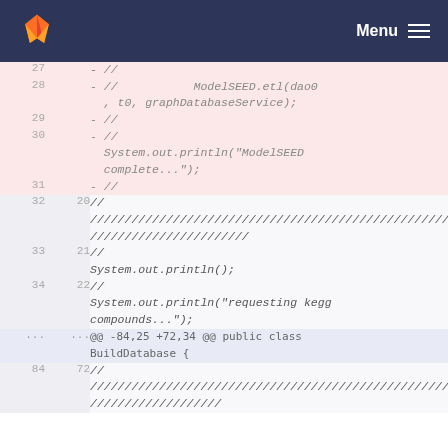GitLab — Menu
Code diff view showing deleted lines (28-31) and context lines (32-34, ..., 84) with old/new line numbers and Java source code